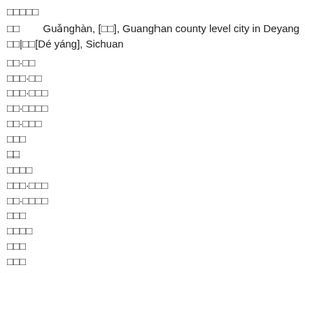□□□□□
□□        Guǎnghàn, [□□], Guanghan county level city in Deyang □□|□□[Dé yáng], Sichuan
□□·□□
□□□·□□
□□□·□□□
□□·□□□□
□□·□□□
□□□
□□
□□□□
□□□·□□□
□□·□□□□
□□□
□□□□
□□□
□□□